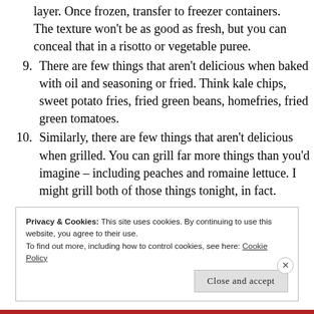The texture won't be as good as fresh, but you can conceal that in a risotto or vegetable puree.
9. There are few things that aren't delicious when baked with oil and seasoning or fried.  Think kale chips, sweet potato fries, fried green beans, homefries, fried green tomatoes.
10. Similarly, there are few things that aren't delicious when grilled.  You can grill far more things than you'd imagine – including peaches and romaine lettuce.  I might grill both of those things tonight, in fact.
Privacy & Cookies: This site uses cookies. By continuing to use this website, you agree to their use.
To find out more, including how to control cookies, see here: Cookie Policy
Close and accept